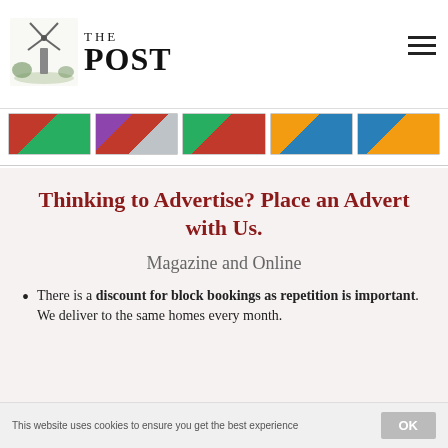THE POST
[Figure (screenshot): Row of five thumbnail images of newspaper/magazine pages]
Thinking to Advertise? Place an Advert with Us.
Magazine and Online
There is a discount for block bookings as repetition is important. We deliver to the same homes every month.
This website uses cookies to ensure you get the best experience   OK